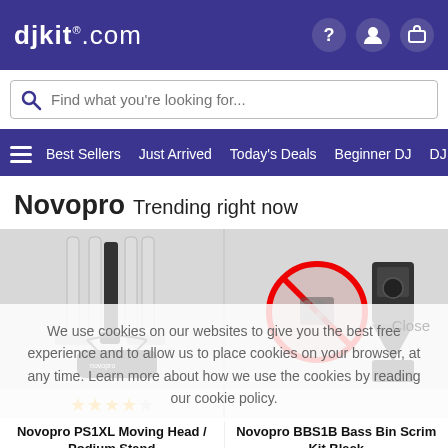djkit.com
Find what you're looking for...
Best Sellers  Just Arrived  Today's Deals  Beginner DJ  DJ Con
Novopro Trending right now
[Figure (photo): Novopro PS1XL Moving Head / Podium Stand product image with carrying bag, white stands]
Novopro PS1XL Moving Head / Podium Stand
NEW Novopro PS1XL Unique and
£159.00
✓ In stock
[Figure (photo): Novopro BBS1B Bass Bin Scrim Kit Black product image with no-sign symbol overlay]
Novopro BBS1B Bass Bin Scrim Kit Black
Adjustable Bass Bin Scrim Kit
£44.95 £40.46
✓ In stock